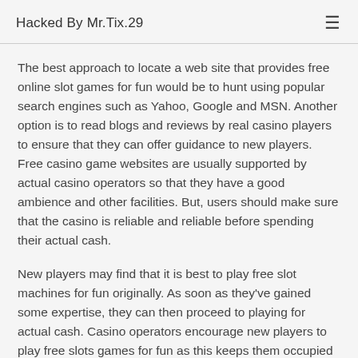Hacked By Mr.Tix.29
The best approach to locate a web site that provides free online slot games for fun would be to hunt using popular search engines such as Yahoo, Google and MSN. Another option is to read blogs and reviews by real casino players to ensure that they can offer guidance to new players. Free casino game websites are usually supported by actual casino operators so that they have a good ambience and other facilities. But, users should make sure that the casino is reliable and reliable before spending their actual cash.
New players may find that it is best to play free slot machines for fun originally. As soon as they've gained some expertise, they can then proceed to playing for actual cash. Casino operators encourage new players to play free slots games for fun as this keeps them occupied and